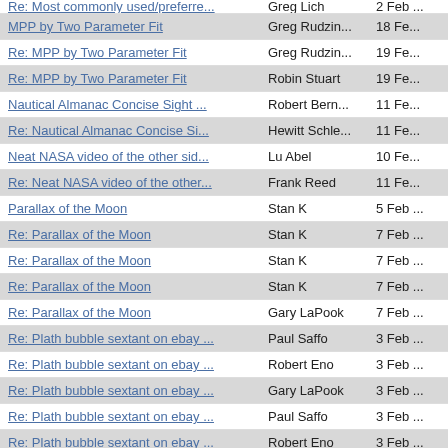Re: Most commonly used/preferre... | Greg Lich | 2 Feb ...
MPP by Two Parameter Fit | Greg Rudzin... | 18 Fe...
Re: MPP by Two Parameter Fit | Greg Rudzin... | 19 Fe...
Re: MPP by Two Parameter Fit | Robin Stuart | 19 Fe...
Nautical Almanac Concise Sight ... | Robert Bern... | 11 Fe...
Re: Nautical Almanac Concise Si... | Hewitt Schle... | 11 Fe...
Neat NASA video of the other sid... | Lu Abel | 10 Fe...
Re: Neat NASA video of the other... | Frank Reed | 11 Fe...
Parallax of the Moon | Stan K | 5 Feb ...
Re: Parallax of the Moon | Stan K | 7 Feb ...
Re: Parallax of the Moon | Stan K | 7 Feb ...
Re: Parallax of the Moon | Stan K | 7 Feb ...
Re: Parallax of the Moon | Gary LaPook | 7 Feb ...
Re: Plath bubble sextant on ebay ... | Paul Saffo | 3 Feb ...
Re: Plath bubble sextant on ebay ... | Robert Eno | 3 Feb ...
Re: Plath bubble sextant on ebay ... | Gary LaPook | 3 Feb ...
Re: Plath bubble sextant on ebay ... | Paul Saffo | 3 Feb ...
Re: Plath bubble sextant on ebay ... | Robert Eno | 3 Feb ...
Re: Plath bubble sextant on ebay ... | Dan M | 3 Feb ...